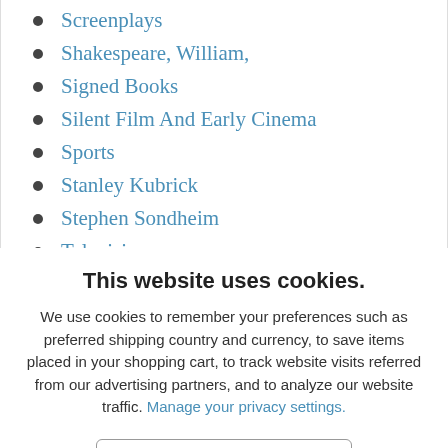Screenplays
Shakespeare, William,
Signed Books
Silent Film And Early Cinema
Sports
Stanley Kubrick
Stephen Sondheim
Television
Tennessee Williams
Theatre And Plays
This website uses cookies.
We use cookies to remember your preferences such as preferred shipping country and currency, to save items placed in your shopping cart, to track website visits referred from our advertising partners, and to analyze our website traffic. Manage your privacy settings.
AGREE AND CLOSE